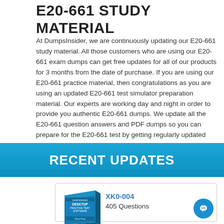E20-661 STUDY MATERIAL
At DumpsInsider, we are continuously updating our E20-661 study material. All those customers who are using our E20-661 exam dumps can get free updates for all of our products for 3 months from the date of purchase. If you are using our E20-661 practice material, then congratulations as you are using an updated E20-661 test simulator preparation material. Our experts are working day and night in order to provide you authentic E20-661 dumps. We update all the E20-661 question answers and PDF dumps so you can prepare for the E20-661 test by getting regularly updated E20-661 preparation material.
RECENT UPDATES
[Figure (illustration): Desktop Practice Test Software product box image]
XK0-004
405 Questions